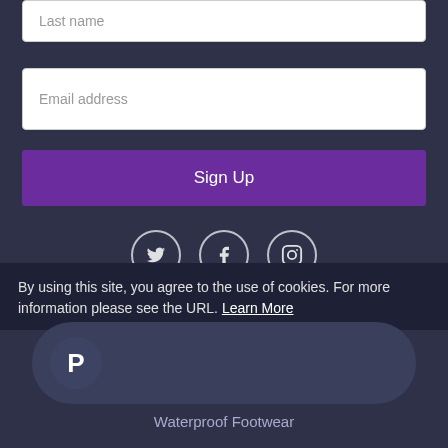Last name
Email address
Sign Up
[Figure (other): Social media icons: Twitter, Facebook, Instagram in circle outlines]
Our Selection
Home
Brands
Mens Footwear
By using this site, you agree to the use of cookies. For more information please see the URL. Learn More
[Figure (logo): PayPal logo icon on dark pill-shaped button]
Waterproof Footwear